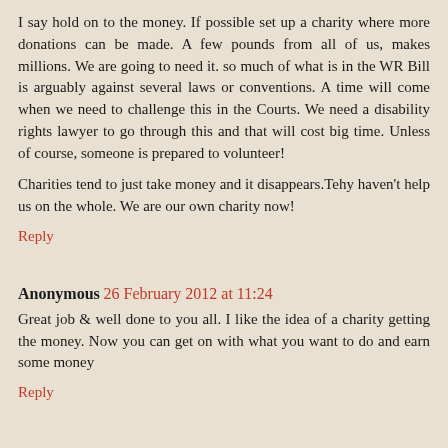I say hold on to the money. If possible set up a charity where more donations can be made. A few pounds from all of us, makes millions. We are going to need it. so much of what is in the WR Bill is arguably against several laws or conventions. A time will come when we need to challenge this in the Courts. We need a disability rights lawyer to go through this and that will cost big time. Unless of course, someone is prepared to volunteer!
Charities tend to just take money and it disappears.Tehy haven't help us on the whole. We are our own charity now!
Reply
Anonymous 26 February 2012 at 11:24
Great job & well done to you all. I like the idea of a charity getting the money. Now you can get on with what you want to do and earn some money
Reply